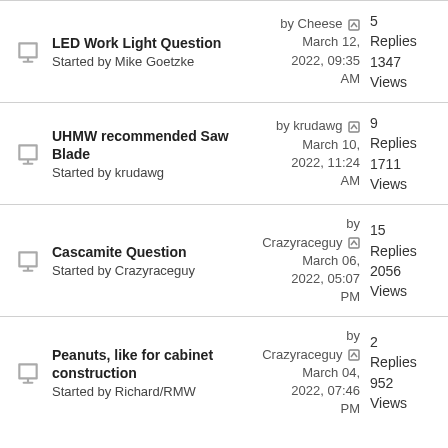LED Work Light Question
Started by Mike Goetzke
by Cheese March 12, 2022, 09:35 AM
5 Replies 1347 Views
UHMW recommended Saw Blade
Started by krudawg
by krudawg March 10, 2022, 11:24 AM
9 Replies 1711 Views
Cascamite Question
Started by Crazyraceguy
by Crazyraceguy March 06, 2022, 05:07 PM
15 Replies 2056 Views
Peanuts, like for cabinet construction
Started by Richard/RMW
by Crazyraceguy March 04, 2022, 07:46 PM
2 Replies 952 Views